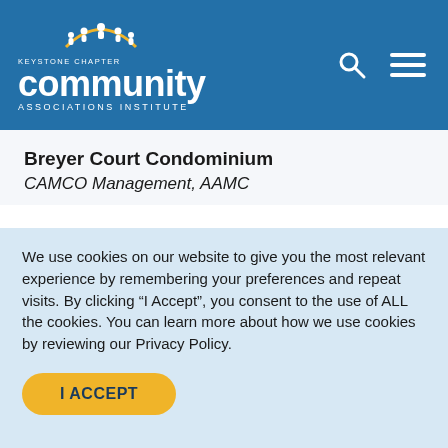[Figure (logo): Keystone Chapter Community Associations Institute logo with people icons, white on blue background, with search and hamburger menu icons]
Breyer Court Condominium
CAMCO Management, AAMC
We use cookies on our website to give you the most relevant experience by remembering your preferences and repeat visits. By clicking “I Accept”, you consent to the use of ALL the cookies. You can learn more about how we use cookies by reviewing our Privacy Policy.
I ACCEPT